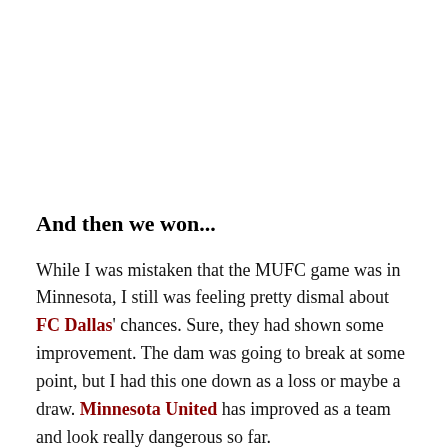And then we won...
While I was mistaken that the MUFC game was in Minnesota, I still was feeling pretty dismal about FC Dallas' chances. Sure, they had shown some improvement. The dam was going to break at some point, but I had this one down as a loss or maybe a draw. Minnesota United has improved as a team and look really dangerous so far.
On Saturday night then, to get two goals back to back and take hold of the game, for once, those dismal feelings vanished. FC Dallas came out with the right